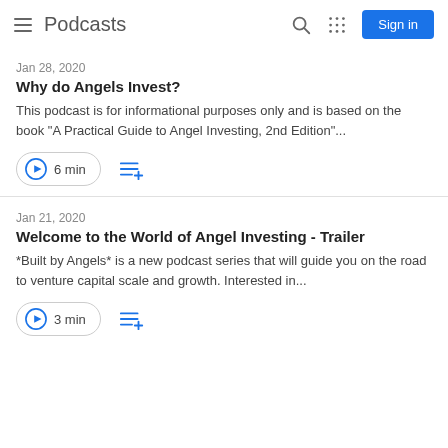Podcasts
Jan 28, 2020
Why do Angels Invest?
This podcast is for informational purposes only and is based on the book "A Practical Guide to Angel Investing, 2nd Edition"...
6 min
Jan 21, 2020
Welcome to the World of Angel Investing - Trailer
*Built by Angels* is a new podcast series that will guide you on the road to venture capital scale and growth. Interested in...
3 min